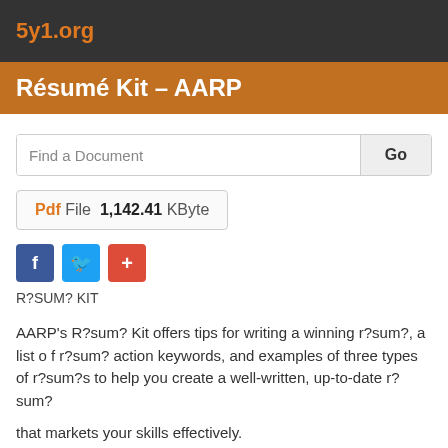5y1.org
Résumé Kit – AARP
Find a Document   Go
Pdf File  1,142.41  KByte
[Figure (other): Social share buttons: Facebook (f), Twitter (bird), and Google+ (+)]
R?SUM? KIT
AARP's R?sum? Kit offers tips for writing a winning r?sum?, a list of r?sum? action keywords, and examples of three types of r?sum?s to help you create a well-written, up-to-date r?sum?
that markets your skills effectively.
​AARP R?sum? Kit